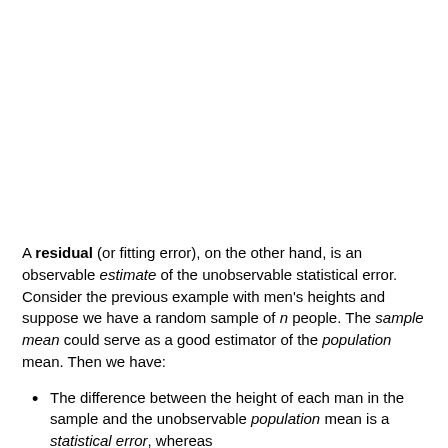A residual (or fitting error), on the other hand, is an observable estimate of the unobservable statistical error. Consider the previous example with men's heights and suppose we have a random sample of n people. The sample mean could serve as a good estimator of the population mean. Then we have:
The difference between the height of each man in the sample and the unobservable population mean is a statistical error, whereas
The difference between the height of each man in the sample and